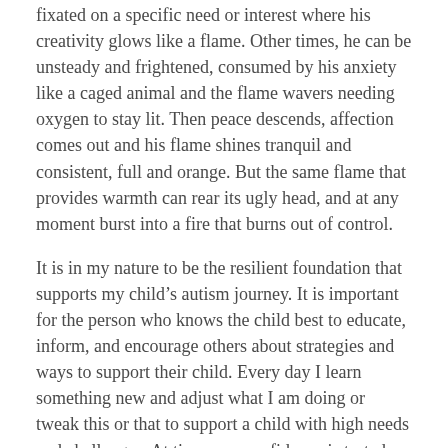fixated on a specific need or interest where his creativity glows like a flame. Other times, he can be unsteady and frightened, consumed by his anxiety like a caged animal and the flame wavers needing oxygen to stay lit. Then peace descends, affection comes out and his flame shines tranquil and consistent, full and orange. But the same flame that provides warmth can rear its ugly head, and at any moment burst into a fire that burns out of control.
It is in my nature to be the resilient foundation that supports my child's autism journey. It is important for the person who knows the child best to educate, inform, and encourage others about strategies and ways to support their child. Every day I learn something new and adjust what I am doing or tweak this or that to support a child with high needs and challenges. At times my confidence is tested and I find myself wondering,  “Can I do this, can I keep going, what will happen in the future?”
Then I too appreciate the moments that the sun sets on this